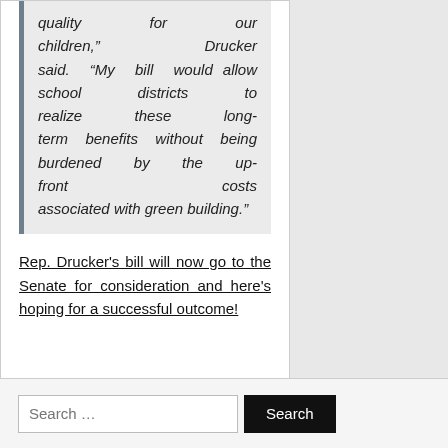quality for our children," Drucker said. "My bill would allow school districts to realize these long-term benefits without being burdened by the up-front costs associated with green building."
Rep. Drucker's bill will now go to the Senate for consideration and here's hoping for a successful outcome!